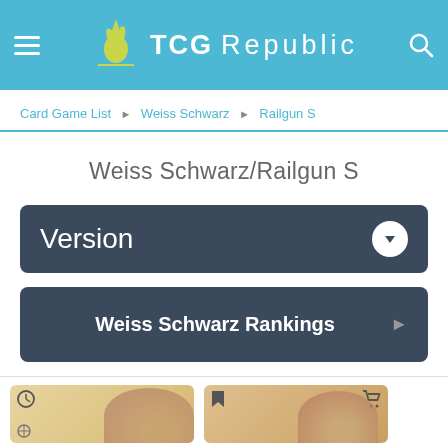TCG Republic
Card Game List ▶ Weiss Schwarz ▶ Railgun S
Weiss Schwarz/Railgun S
Version
Weiss Schwarz Rankings
[Figure (screenshot): Two card thumbnail images at the bottom of the page showing anime character artwork with clock/bookmark and cart icons]